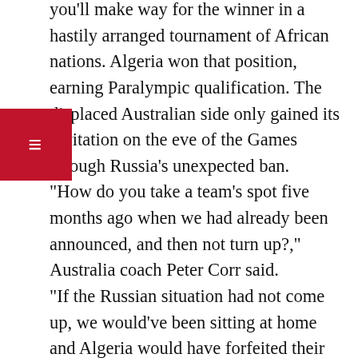you'll make way for the winner in a hastily arranged tournament of African nations. Algeria won that position, earning Paralympic qualification. The displaced Australian side only gained its invitation on the eve of the Games through Russia's unexpected ban. “How do you take a team’s spot five months ago when we had already been announced, and then not turn up?,” Australia coach Peter Corr said. “If the Russian situation had not come up, we would’ve been sitting at home and Algeria would have forfeited their game. That would’ve been our spot. “That is embarrassing that a team forfeits a game at the Paralympic Games, when you’ve had a crowd of 3000 people and the Americans didn’t
[Figure (other): Red hamburger menu button with three horizontal lines (≡) in white, positioned on the left side overlapping the text.]